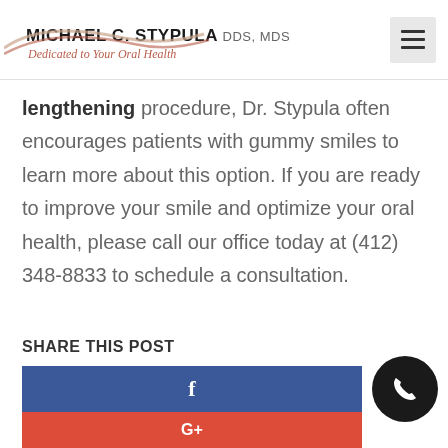MICHAEL C. STYPULA DDS, MDS — Dedicated to Your Oral Health
lengthening procedure, Dr. Stypula often encourages patients with gummy smiles to learn more about this option. If you are ready to improve your smile and optimize your oral health, please call our office today at (412) 348-8833 to schedule a consultation.
SHARE THIS POST
[Figure (infographic): Facebook share button (blue) with 'f' icon, Google+ share button (red) with 'G+' icon, and a circular phone call button]